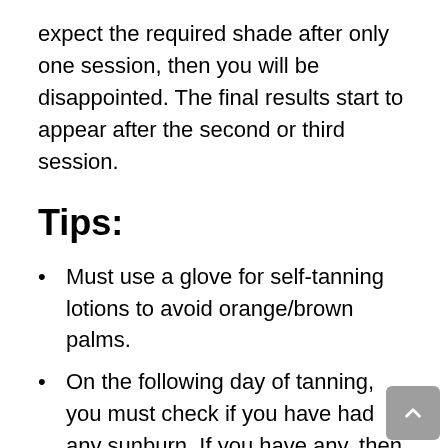expect the required shade after only one session, then you will be disappointed. The final results start to appear after the second or third session.
Tips:
Must use a glove for self-tanning lotions to avoid orange/brown palms.
On the following day of tanning, you must check if you have had any sunburn. If you have any, then you can use aloe vera to reduce irritation and redness.
Must...